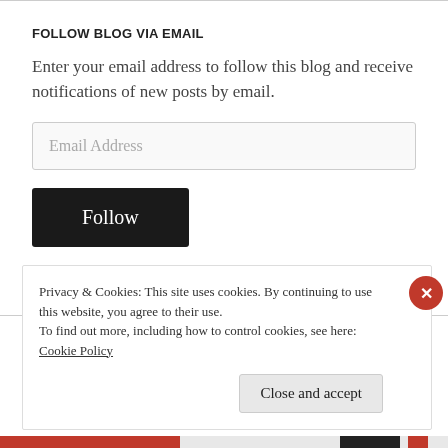FOLLOW BLOG VIA EMAIL
Enter your email address to follow this blog and receive notifications of new posts by email.
Email Address
Follow
Privacy & Cookies: This site uses cookies. By continuing to use this website, you agree to their use.
To find out more, including how to control cookies, see here: Cookie Policy
Close and accept